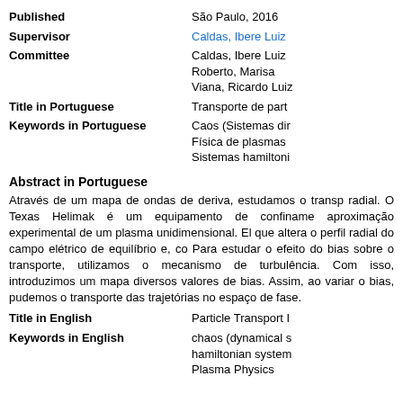| Published | São Paulo, 2016 |
| Supervisor | Caldas, Ibere Luiz |
| Committee | Caldas, Ibere Luiz
Roberto, Marisa
Viana, Ricardo Luiz |
| Title in Portuguese | Transporte de part... |
| Keywords in Portuguese | Caos (Sistemas di...
Física de plasmas
Sistemas hamiltoni... |
Abstract in Portuguese
Através de um mapa de ondas de deriva, estudamos o transporte radial. O Texas Helimak é um equipamento de confinamento aproximação experimental de um plasma unidimensional. Ele que altera o perfil radial do campo elétrico de equilíbrio e, co Para estudar o efeito do bias sobre o transporte, utilizamos o mecanismo de turbulência. Com isso, introduzimos um mapa a diversos valores de bias. Assim, ao variar o bias, pudemos o transporte das trajetórias no espaço de fase.
| Title in English | Particle Transport I... |
| Keywords in English | chaos (dynamical s...
hamiltonian system...
Plasma Physics |